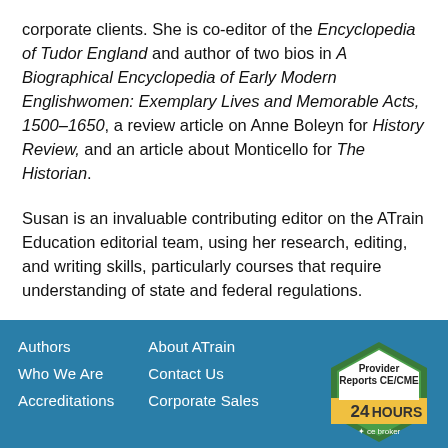corporate clients. She is co-editor of the Encyclopedia of Tudor England and author of two bios in A Biographical Encyclopedia of Early Modern Englishwomen: Exemplary Lives and Memorable Acts, 1500–1650, a review article on Anne Boleyn for History Review, and an article about Monticello for The Historian.
Susan is an invaluable contributing editor on the ATrain Education editorial team, using her research, editing, and writing skills, particularly courses that require understanding of state and federal regulations.
Authors  About ATrain  Who We Are  Contact Us  Accreditations  Corporate Sales  Provider Reports CE/CME 24 HOURS ce broker